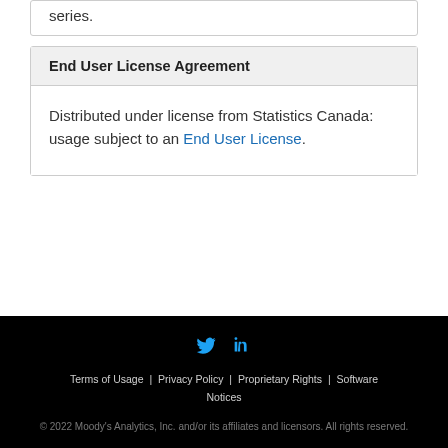series.
End User License Agreement
Distributed under license from Statistics Canada: usage subject to an End User License.
Terms of Usage | Privacy Policy | Proprietary Rights | Software Notices
© 2022 Moody's Analytics, Inc. and/or its affiliates and licensors. All rights reserved.